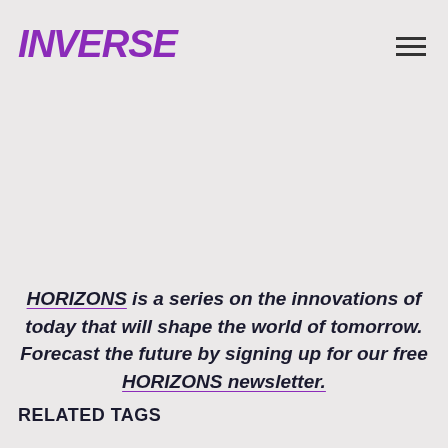INVERSE
HORIZONS is a series on the innovations of today that will shape the world of tomorrow. Forecast the future by signing up for our free HORIZONS newsletter.
RELATED TAGS